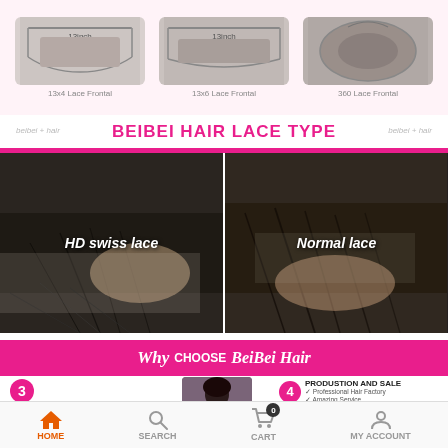[Figure (infographic): Three lace frontal product images: 13x4 Lace Frontal, 13x6 Lace Frontal, 360 Lace Frontal shown in a pink-tinted row with labels]
BEIBEI HAIR LACE TYPE
[Figure (photo): Two side-by-side close-up photos of hair lace types: HD swiss lace (left) and Normal lace (right) with italic white text labels]
Why CHOOSE BeiBei Hair
[Figure (infographic): Why choose BeiBei Hair infographic with numbered points: 3-FAST SHIPPING Arrive Within 3-5 Working Days, 4-PRODUCTION AND SALE Professional Hair Factory Amazing Service, and partially visible 2 and 5 circles, with a woman model image in center]
HOME | SEARCH | CART | MY ACCOUNT